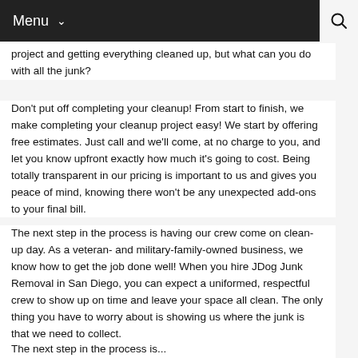Menu
project and getting everything cleaned up, but what can you do with all the junk?
Don’t put off completing your cleanup! From start to finish, we make completing your cleanup project easy! We start by offering free estimates. Just call and we’ll come, at no charge to you, and let you know upfront exactly how much it’s going to cost. Being totally transparent in our pricing is important to us and gives you peace of mind, knowing there won’t be any unexpected add-ons to your final bill.
The next step in the process is having our crew come on clean-up day. As a veteran- and military-family-owned business, we know how to get the job done well! When you hire JDog Junk Removal in San Diego, you can expect a uniformed, respectful crew to show up on time and leave your space all clean. The only thing you have to worry about is showing us where the junk is that we need to collect.
The next step in the process is...